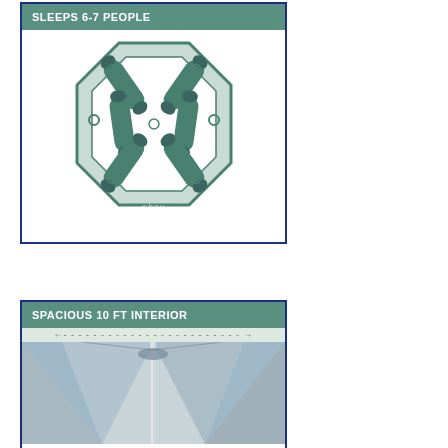[Figure (infographic): Infographic card with teal banner reading SLEEPS 6-7 PEOPLE and an octagonal floor plan diagram showing 6-7 sleeping bag icons arranged in a circle with a small circle in the center, on a white background with an ebay watermark.]
[Figure (infographic): Infographic card with teal banner reading SPACIOUS 10 FT INTERIOR with dashed arrow indicating width, and a photo of the interior of a large tent looking up at the center pole and mesh/fabric panels against the sky.]